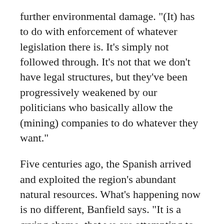further environmental damage. "(It) has to do with enforcement of whatever legislation there is. It's simply not followed through. It's not that we don't have legal structures, but they've been progressively weakened by our politicians who basically allow the (mining) companies to do whatever they want."
Five centuries ago, the Spanish arrived and exploited the region's abundant natural resources. What's happening now is no different, Banfield says. "It is a crying shame, that we are attempting to give away part of Panama, part of our sovereignty, part of our natural environment, to people who simply cannot manage it adequately."